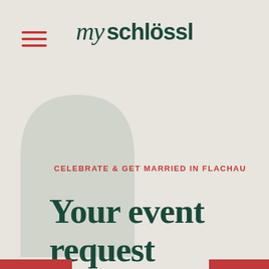[Figure (logo): my schlössl brand logo with hamburger menu icon (three red horizontal lines) on the left and stylized text logo in dark green]
[Figure (illustration): Light sage green arch/window shape decorative element in the background]
CELEBRATE & GET MARRIED IN FLACHAU
Your event request